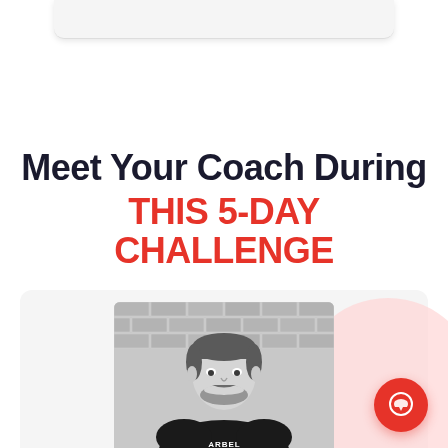[Figure (screenshot): Top navigation bar of a mobile app or website, showing a light gray bar at the top of the screen]
Meet Your Coach During THIS 5-DAY CHALLENGE
[Figure (photo): Black and white photo of a smiling man with short hair and a beard, wearing a black t-shirt with 'BARBELL' text, standing in front of a brick wall background. This is the coach photo for a 5-day challenge.]
[Figure (other): Orange/red circular chat button with a speech bubble icon in the bottom right corner of the screen]